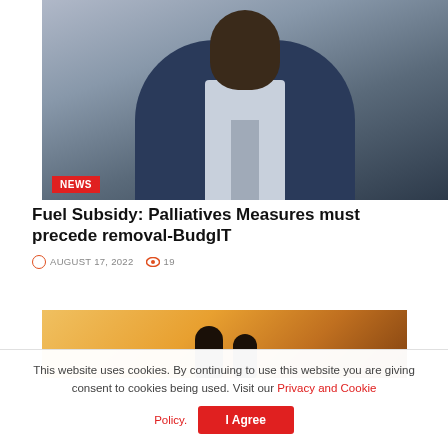[Figure (photo): A man in a dark navy blue suit with a light blue shirt and patterned tie, photographed from the chest up, smiling slightly, with a blurred building facade in the background]
NEWS
Fuel Subsidy: Palliatives Measures must precede removal-BudgIT
AUGUST 17, 2022  19
[Figure (photo): Two silhouetted figures against a warm orange and golden sunset background]
This website uses cookies. By continuing to use this website you are giving consent to cookies being used. Visit our Privacy and Cookie Policy.
I Agree